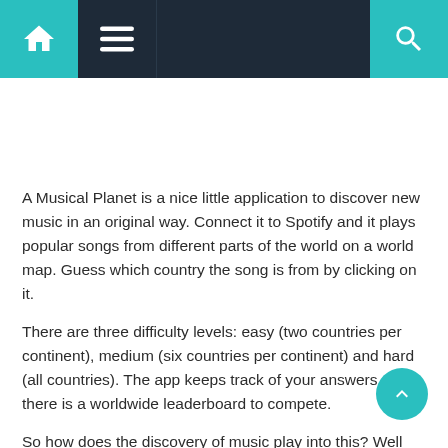Navigation bar with home, menu, and search icons
A Musical Planet is a nice little application to discover new music in an original way. Connect it to Spotify and it plays popular songs from different parts of the world on a world map. Guess which country the song is from by clicking on it.
There are three difficulty levels: easy (two countries per continent), medium (six countries per continent) and hard (all countries). The app keeps track of your answers, and there is a worldwide leaderboard to compete.
So how does the discovery of music play into this? Well